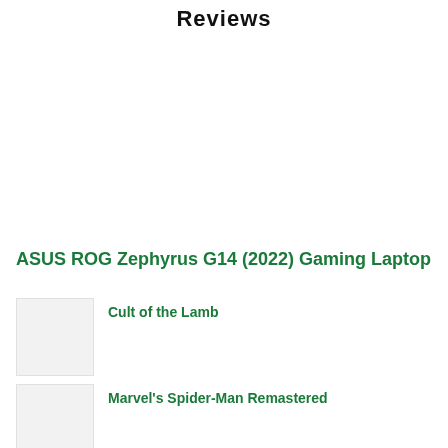Reviews
ASUS ROG Zephyrus G14 (2022) Gaming Laptop
Cult of the Lamb
Marvel's Spider-Man Remastered